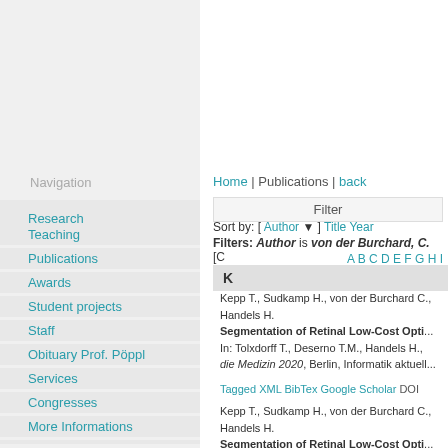Navigation
Research
Teaching
Publications
Awards
Student projects
Staff
Obituary Prof. Pöppl
Services
Congresses
More Informations
Imprint
Datenschutzerklärung
Home | Publications | back
Filter
Sort by: [ Author ▼ ] Title Year
Filters: Author is von der Burchard, C. [C...
A B C D E F G H I...
K
Kepp T., Sudkamp H., von der Burchard C., Handels H. Segmentation of Retinal Low-Cost Opti... In: Tolxdorff T., Deserno T.M., Handels H., die Medizin 2020, Berlin, Informatik aktuell...
Tagged XML BibTex Google Scholar DOI
Kepp T., Sudkamp H., von der Burchard C., Handels H. Segmentation of Retinal Low-Cost Opti...